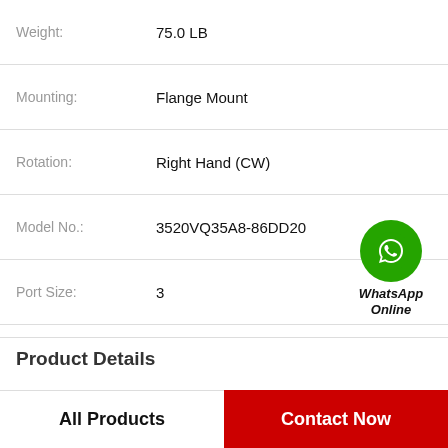| Property | Value |
| --- | --- |
| Weight: | 75.0 LB |
| Mounting: | Flange Mount |
| Rotation: | Right Hand (CW) |
| Model No.: | 3520VQ35A8-86DD20 |
| Port Size: | 3 |
| Port Type: | Flange |
| Shaft Key: | 5/16 in |
| Pilot Type: | Standard Pilot |
| PDF |  |
[Figure (logo): WhatsApp Online green circle icon with phone handset, labeled WhatsApp Online in bold italic text]
Product Details
All Products
Contact Now